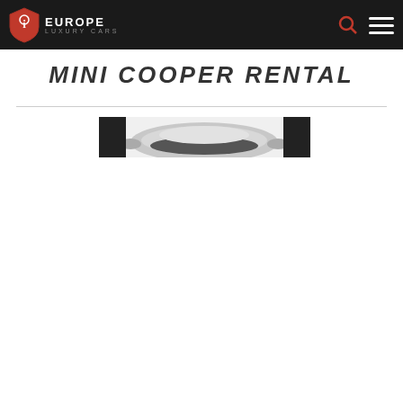EUROPE LUXURY CARS
MINI COOPER RENTAL
[Figure (photo): Partial top view of a Mini Cooper vehicle, showing the roof and windshield area in silver/grey color against a white background]